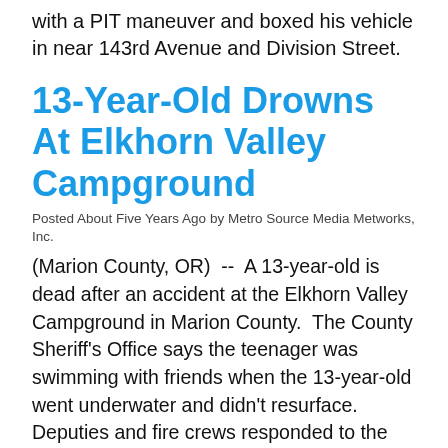with a PIT maneuver and boxed his vehicle in near 143rd Avenue and Division Street.
13-Year-Old Drowns At Elkhorn Valley Campground
Posted About Five Years Ago by Metro Source Media Metworks, Inc.
(Marion County, OR)  --  A 13-year-old is dead after an accident at the Elkhorn Valley Campground in Marion County.  The County Sheriff's Office says the teenager was swimming with friends when the 13-year-old went underwater and didn't resurface.  Deputies and fire crews responded to the campground around 4:15 Sunday afternoon.  The teen's body was found around 6:15 by on-scene rescue personnel before the arrival of the dive team.